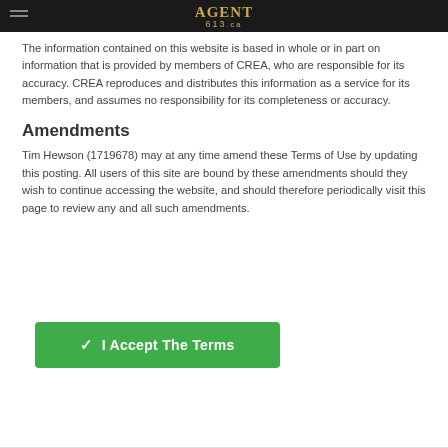AGENT 613.ca
The information contained on this website is based in whole or in part on information that is provided by members of CREA, who are responsible for its accuracy. CREA reproduces and distributes this information as a service for its members, and assumes no responsibility for its completeness or accuracy.
Amendments
Tim Hewson (1719678) may at any time amend these Terms of Use by updating this posting. All users of this site are bound by these amendments should they wish to continue accessing the website, and should therefore periodically visit this page to review any and all such amendments.
✓ I Accept The Terms